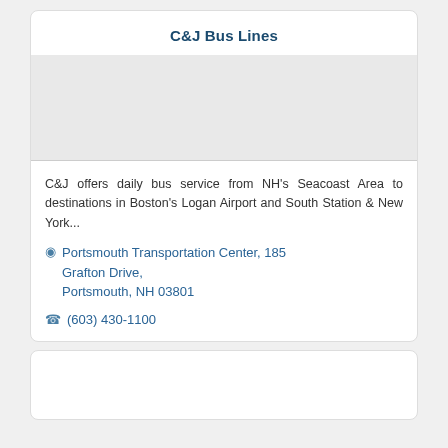C&J Bus Lines
C&J offers daily bus service from NH's Seacoast Area to destinations in Boston's Logan Airport and South Station & New York...
Portsmouth Transportation Center, 185 Grafton Drive, Portsmouth, NH 03801
(603) 430-1100